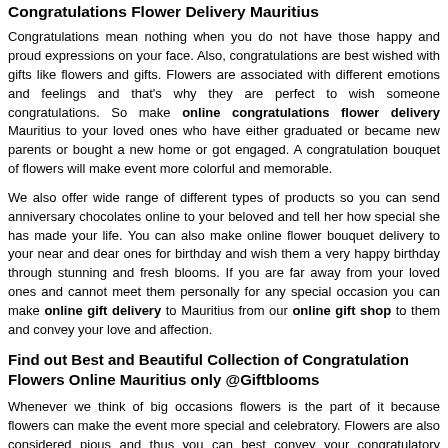Congratulations Flower Delivery Mauritius
Congratulations mean nothing when you do not have those happy and proud expressions on your face. Also, congratulations are best wished with gifts like flowers and gifts. Flowers are associated with different emotions and feelings and that's why they are perfect to wish someone congratulations. So make online congratulations flower delivery Mauritius to your loved ones who have either graduated or became new parents or bought a new home or got engaged. A congratulation bouquet of flowers will make event more colorful and memorable.
We also offer wide range of different types of products so you can send anniversary chocolates online to your beloved and tell her how special she has made your life. You can also make online flower bouquet delivery to your near and dear ones for birthday and wish them a very happy birthday through stunning and fresh blooms. If you are far away from your loved ones and cannot meet them personally for any special occasion you can make online gift delivery to Mauritius from our online gift shop to them and convey your love and affection.
Find out Best and Beautiful Collection of Congratulation Flowers Online Mauritius only @Giftblooms
Whenever we think of big occasions flowers is the part of it because flowers can make the event more special and celebratory. Flowers are also considered pious and thus you can best convey your congratulatory wishes with the help of blooms. So send congratulations flower online Mauritius to the couple who is just